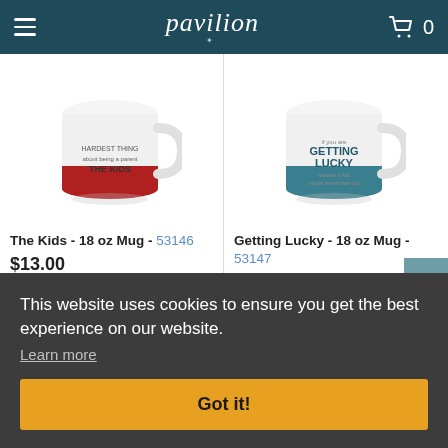pavilion
[Figure (photo): White ceramic mug with red lower half, text 'THE KIDS' on it]
The Kids - 18 oz Mug - 53146
$13.00
[Figure (photo): White ceramic mug with teal/blue lower half, text 'GETTING LUCKY' on it]
Getting Lucky - 18 oz Mug - 53147
$13.00
This website uses cookies to ensure you get the best experience on our website.
Learn more
Got it!